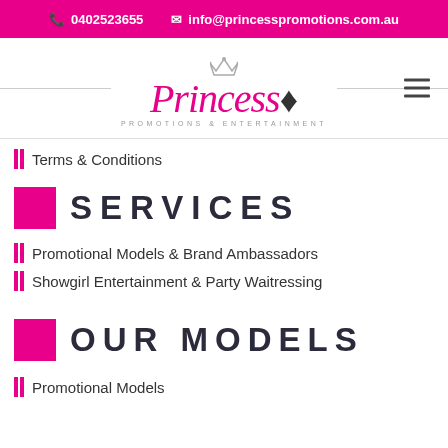0402523655  info@princesspromotions.com.au
[Figure (logo): Princess Promotions & Entertainment logo with crown, pink script text and subtitle]
Terms & Conditions
SERVICES
Promotional Models & Brand Ambassadors
Showgirl Entertainment & Party Waitressing
OUR MODELS
Promotional Models